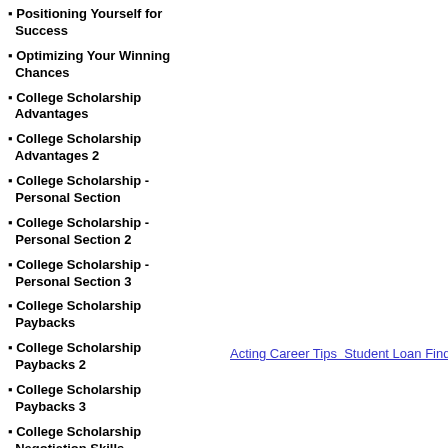Positioning Yourself for Success
Optimizing Your Winning Chances
College Scholarship Advantages
College Scholarship Advantages 2
College Scholarship - Personal Section
College Scholarship - Personal Section 2
College Scholarship - Personal Section 3
College Scholarship Paybacks
College Scholarship Paybacks 2
College Scholarship Paybacks 3
College Scholarship Negotiation Skills
College Scholarship Results
College Scholarship Results 2
Acting Career Tips  Student Loan Finder  Motiv